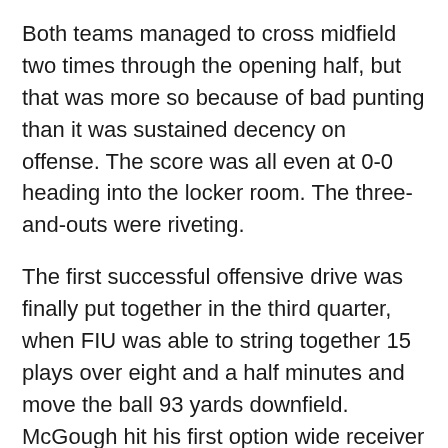Both teams managed to cross midfield two times through the opening half, but that was more so because of bad punting than it was sustained decency on offense. The score was all even at 0-0 heading into the locker room. The three-and-outs were riveting.
The first successful offensive drive was finally put together in the third quarter, when FIU was able to string together 15 plays over eight and a half minutes and move the ball 93 yards downfield. McGough hit his first option wide receiver Thomas Owens for a 13-yard touchdown. Owens led all receivers with eight catches for 72 yards.
Roadrunners kick returner Brett Winnegan would actually fumble on the following kickoff, giving FIU